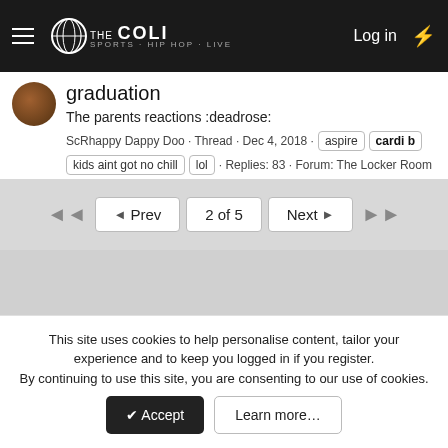THE COLI — Log in
graduation
The parents reactions :deadrose:
ScRhappy Dappy Doo · Thread · Dec 4, 2018 · aspire cardi b kids aint got no chill lol · Replies: 83 · Forum: The Locker Room
◄◄  ◄ Prev  2 of 5  Next ►  ►►
This site uses cookies to help personalise content, tailor your experience and to keep you logged in if you register. By continuing to use this site, you are consenting to our use of cookies.